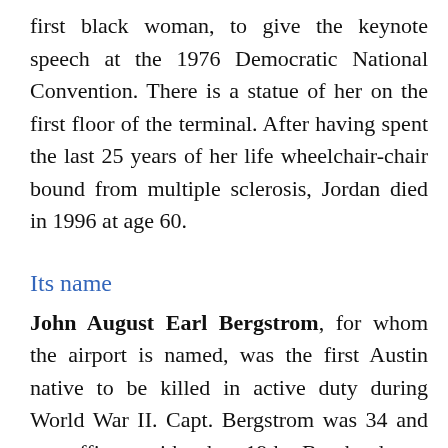first black woman, to give the keynote speech at the 1976 Democratic National Convention. There is a statue of her on the first floor of the terminal. After having spent the last 25 years of her life wheelchair-chair bound from multiple sclerosis, Jordan died in 1996 at age 60.
Its name
John August Earl Bergstrom, for whom the airport is named, was the first Austin native to be killed in active duty during World War II. Capt. Bergstrom was 34 and an officer with the 19th Bombardment Group in the Philippines